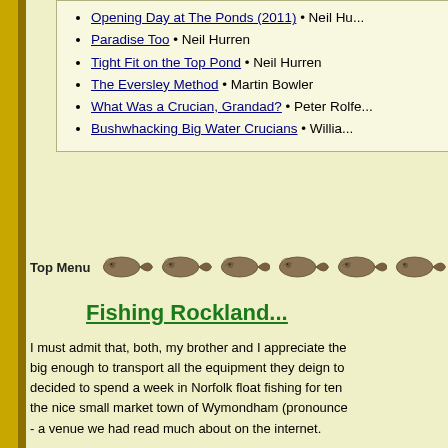Opening Day at The Ponds (2011) • Neil Hu...
Paradise Too • Neil Hurren
Tight Fit on the Top Pond • Neil Hurren
The Eversley Method • Martin Bowler
What Was a Crucian, Grandad? • Peter Rolf...
Bushwhacking Big Water Crucians • Willia...
[Figure (illustration): Row of fish illustrations (crucian carp) with Top Menu label on left]
Fishing Rockland...
I must admit that, both, my brother and I appreciate the big enough to transport all the equipment they deign to decided to spend a week in Norfolk float fishing for ten the nice small market town of Wymondham (pronounc - a venue we had read much about on the internet.
Getting there. The village of Rockland St. Peter lies a b...